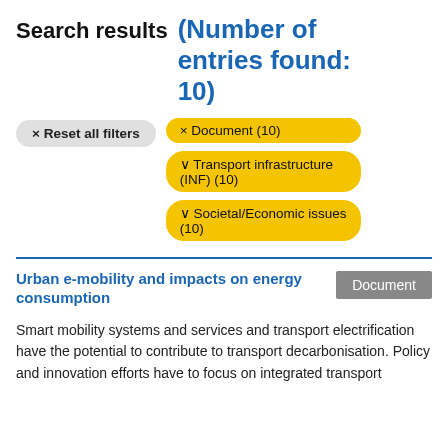Search results (Number of entries found: 10)
× Reset all filters
× Document (10)
∨ Transport infrastructure (INF) (10)
∨ Societal/Economic issues (10)
Urban e-mobility and impacts on energy consumption
Document
Smart mobility systems and services and transport electrification have the potential to contribute to transport decarbonisation. Policy and innovation efforts have to focus on integrated transport